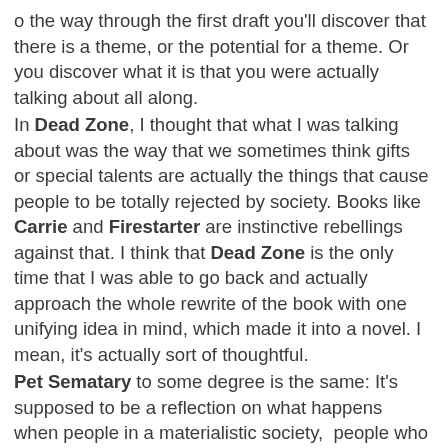o the way through the first draft you'll discover that there is a theme, or the potential for a theme. Or you discover what it is that you were actually talking about all along. In Dead Zone, I thought that what I was talking about was the way that we sometimes think gifts or special talents are actually the things that cause people to be totally rejected by society. Books like Carrie and Firestarter are instinctive rebellings against that. I think that Dead Zone is the only time that I was able to go back and actually approach the whole rewrite of the book with one unifying idea in mind, which made it into a novel. I mean, it's actually sort of thoughtful. Pet Sematary to some degree is the same: It's supposed to be a reflection on what happens when people in a materialistic society,  people who live only for materialistic reasons, come into contact with questions of faith and death and outside forces. Question: What do you think of America at present? Is it ordinary? King: I think the same thing about it that I have always thought: I think it's fantastic. We're killing ourselves; we're fiddling while Rome burns. I mean, while we've got enough